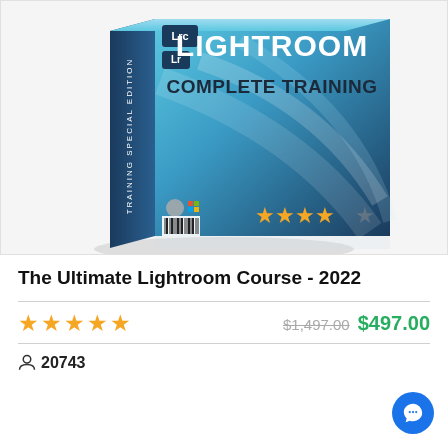[Figure (illustration): 3D software box for Lightroom Complete Training course, teal/blue gradient design with 'Lrc' and 'Lr' logos, text LIGHTROOM COMPLETE TRAINING on front, Training Special Edition on spine, Mac/Windows compatibility icons and barcode at bottom, 4 gold stars rating on box front]
The Ultimate Lightroom Course - 2022
★★★★★  $1,497.00 $497.00
👤 20743